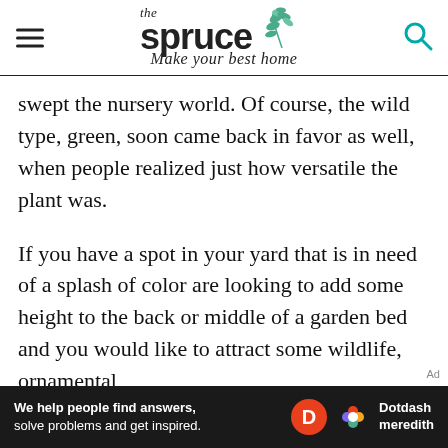the spruce — Make your best home
swept the nursery world. Of course, the wild type, green, soon came back in favor as well, when people realized just how versatile the plant was.
If you have a spot in your yard that is in need of a splash of color are looking to add some height to the back or middle of a garden bed and you would like to attract some wildlife, ornamental
[Figure (other): Dotdash Meredith advertisement banner: 'We help people find answers, solve problems and get inspired.' with Dotdash D logo and colorful Meredith flower logo.]